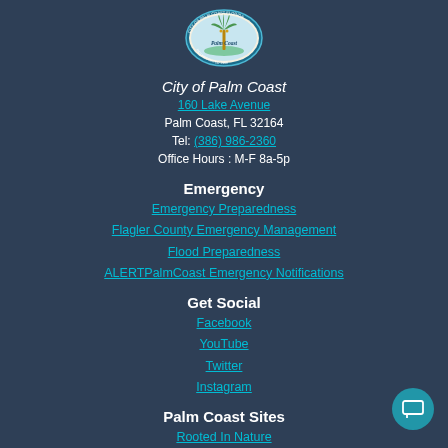[Figure (logo): City of Palm Coast Florida oval seal/logo with palm tree, blue border with text 'CITY OF PALM COAST FLORIDA INCORPORATED 1999']
City of Palm Coast
160 Lake Avenue
Palm Coast, FL 32164
Tel: (386) 986-2360
Office Hours : M-F 8a-5p
Emergency
Emergency Preparedness
Flagler County Emergency Management
Flood Preparedness
ALERTPalmCoast Emergency Notifications
Get Social
Facebook
YouTube
Twitter
Instagram
Palm Coast Sites
Rooted In Nature